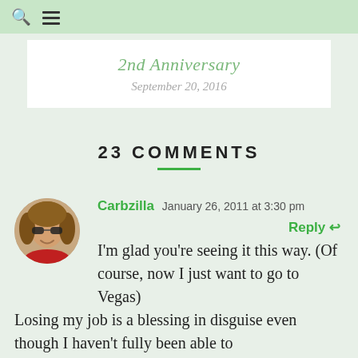2nd Anniversary
September 20, 2016
23 COMMENTS
[Figure (photo): Circular avatar photo of a smiling woman with medium-length hair and sunglasses, wearing a red top]
Carbzilla   January 26, 2011 at 3:30 pm
Reply
I'm glad you're seeing it this way. (Of course, now I just want to go to Vegas)

Losing my job is a blessing in disguise even though I haven't fully been able to